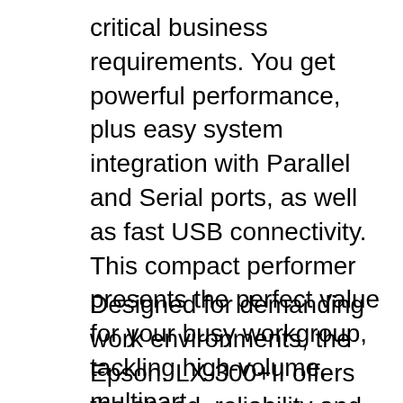critical business requirements. You get powerful performance, plus easy system integration with Parallel and Serial ports, as well as fast USB connectivity. This compact performer presents the perfect value for your busy workgroup, tackling high-volume, multipart
Designed for demanding work environments, the Epson. LX-300+II offers the speed, reliability and user-friendly features you need for critical business requirements. You get powerful performance, plus easy system integration with Parallel and Serial ports, as well as fast USB connectivity. This compact performer